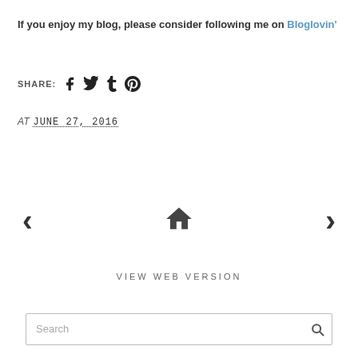If you enjoy my blog, please consider following me on Bloglovin'
SHARE: [social icons: Facebook, Twitter, Tumblr, Pinterest]
AT JUNE 27, 2016
[Figure (infographic): Navigation row with left arrow, home icon, and right arrow]
VIEW WEB VERSION
Search